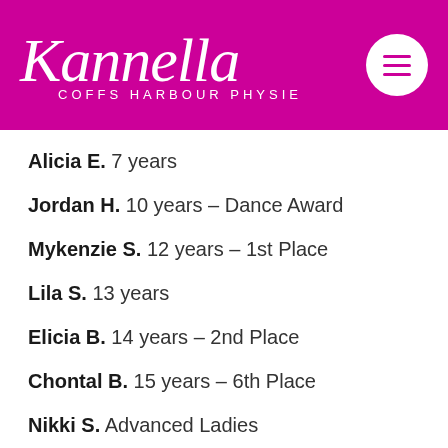[Figure (logo): Kannella Coffs Harbour Physie logo on magenta/pink background with decorative script font and hamburger menu circle icon]
Alicia E. 7 years
Jordan H. 10 years – Dance Award
Mykenzie S. 12 years – 1st Place
Lila S. 13 years
Elicia B. 14 years – 2nd Place
Chontal B. 15 years – 6th Place
Nikki S. Advanced Ladies